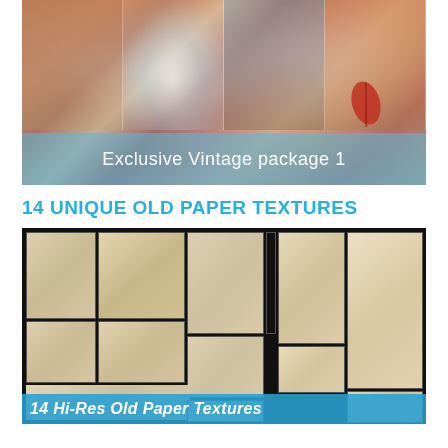[Figure (photo): Exclusive Vintage package 1 — collage of warm amber, rust, and blue-toned vintage texture photos with a semi-transparent teal overlay banner]
14 UNIQUE OLD PAPER TEXTURES
[Figure (photo): Grid of 14 old paper textures photographed against a black background, showing aged yellowed paper sheets of various sizes]
14 Hi-Res Old Paper Textures